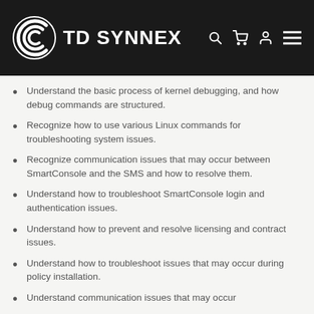TD SYNNEX
Understand the basic process of kernel debugging, and how debug commands are structured.
Recognize how to use various Linux commands for troubleshooting system issues.
Recognize communication issues that may occur between SmartConsole and the SMS and how to resolve them.
Understand how to troubleshoot SmartConsole login and authentication issues.
Understand how to prevent and resolve licensing and contract issues.
Understand how to troubleshoot issues that may occur during policy installation.
Understand communication issues that may occur